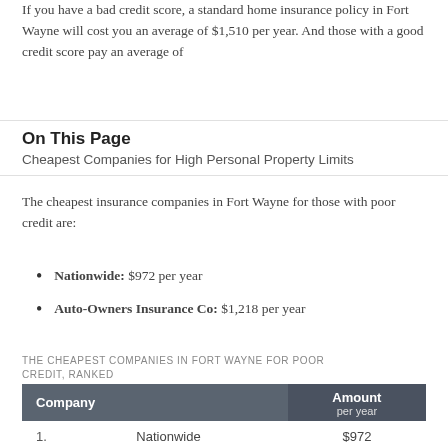If you have a bad credit score, a standard home insurance policy in Fort Wayne will cost you an average of $1,510 per year. And those with a good credit score pay an average of
On This Page
Cheapest Companies for High Personal Property Limits
The cheapest insurance companies in Fort Wayne for those with poor credit are:
Nationwide: $972 per year
Auto-Owners Insurance Co: $1,218 per year
THE CHEAPEST COMPANIES IN FORT WAYNE FOR POOR CREDIT, RANKED
| Company | Amount
per year |
| --- | --- |
| 1. | Nationwide | $972 |